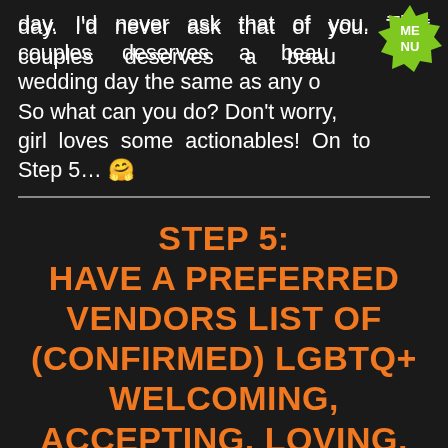day. I'd never ask that of you. That couples deserves a beautiful wedding day the same as any other. So what can you do? Don't worry, this girl loves some actionables! On to Step 5… 🤗
[Figure (logo): Green starburst badge with white text reading ME NU]
STEP 5: HAVE A PREFERRED VENDORS LIST OF (CONFIRMED) LGBTQ+ WELCOMING, ACCEPTING, LOVING, AND CELEBRATING VENDORS